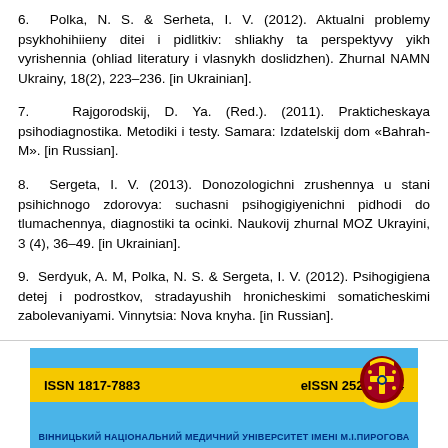6. Polka, N. S. & Serheta, I. V. (2012). Aktualni problemy psykhohihiieny ditei i pidlitkiv: shliakhy ta perspektyvy yikh vyrishennia (ohliad literatury i vlasnykh doslidzhen). Zhurnal NAMN Ukrainy, 18(2), 223–236. [in Ukrainian].
7. Rajgorodskij, D. Ya. (Red.). (2011). Prakticheskaya psihodiagnostika. Metodiki i testy. Samara: Izdatelskij dom «Bahrah-M». [in Russian].
8. Sergeta, I. V. (2013). Donozologichni zrushennya u stani psihichnogo zdorovya: suchasni psihogigiyenichni pidhodi do tlumachennya, diagnostiki ta ocinki. Naukovij zhurnal MOZ Ukrayini, 3 (4), 36–49. [in Ukrainian].
9. Serdyuk, A. M, Polka, N. S. & Sergeta, I. V. (2012). Psihogigiena detej i podrostkov, stradayushih hronicheskimi somaticheskimi zabolevaniyami. Vinnytsia: Nova knyha. [in Russian].
[Figure (other): Footer banner with blue background, yellow strip containing ISSN 1817-7883 and eISSN 2522-9354, university name text at bottom, and institutional emblem/logo on the right side.]